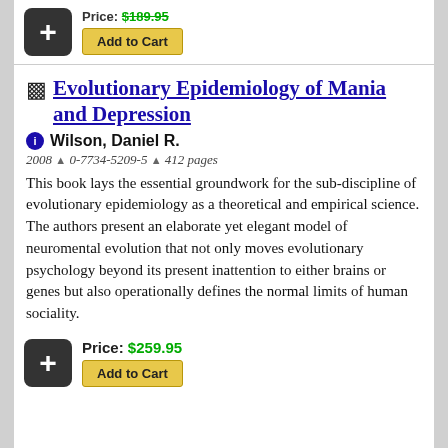[Figure (other): Add to Cart button with plus icon and partially visible price (strikethrough) at top of page]
Evolutionary Epidemiology of Mania and Depression
Wilson, Daniel R.
2008 ^ 0-7734-5209-5 ^ 412 pages
This book lays the essential groundwork for the sub-discipline of evolutionary epidemiology as a theoretical and empirical science. The authors present an elaborate yet elegant model of neuromental evolution that not only moves evolutionary psychology beyond its present inattention to either brains or genes but also operationally defines the normal limits of human sociality.
Price: $259.95
[Figure (other): Add to Cart button with plus icon at bottom of page]